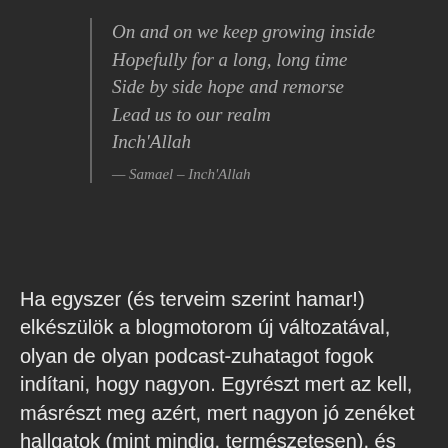On and on we keep growing inside
Hopefully for a long, long time
Side by side hope and remorse
Lead us to our realm
Inch'Allah
— Samael – Inch'Allah
Ha egyszer (és terveim szerint hamar!) elkészülök a blogmotorom új változatával, olyan de olyan podcast-zuhatagot fogok indítani, hogy nagyon. Egyrészt mert az kell, másrészt meg azért, mert nagyon jó zenéket hallgatok (mint mindig, természetesen), és nehéz kibírni, hogy nem tudom megosztani itt.